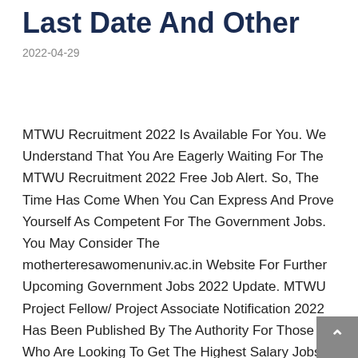Last Date And Other
2022-04-29
MTWU Recruitment 2022 Is Available For You. We Understand That You Are Eagerly Waiting For The MTWU Recruitment 2022 Free Job Alert. So, The Time Has Come When You Can Express And Prove Yourself As Competent For The Government Jobs. You May Consider The motherteresawomenuniv.ac.in Website For Further Upcoming Government Jobs 2022 Update. MTWU Project Fellow/ Project Associate Notification 2022 Has Been Published By The Authority For Those Who Are Looking To Get The Highest Salary Jobs In India. Here, We Always Make Sure That You Get The Latest Job ...